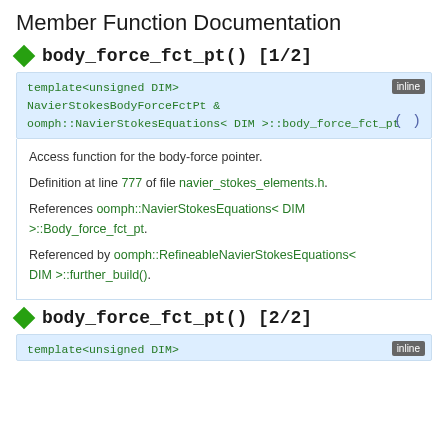Member Function Documentation
◆ body_force_fct_pt() [1/2]
template<unsigned DIM>
NavierStokesBodyForceFctPt &
oomph::NavierStokesEquations< DIM >::body_force_fct_pt	()
Access function for the body-force pointer.
Definition at line 777 of file navier_stokes_elements.h.
References oomph::NavierStokesEquations< DIM >::Body_force_fct_pt.
Referenced by oomph::RefineableNavierStokesEquations< DIM >::further_build().
◆ body_force_fct_pt() [2/2]
inline